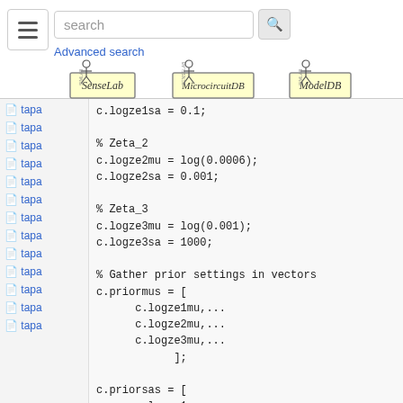search [search button] Advanced search
[Figure (logo): Three logos: SenseLab, MicrocircuitDB, ModelDB]
tapa (sidebar links repeated)
c.logze1sa = 0.1;

% Zeta_2
c.logze2mu = log(0.0006);
c.logze2sa = 0.001;

% Zeta_3
c.logze3mu = log(0.001);
c.logze3sa = 1000;

% Gather prior settings in vectors
c.priormus = [
        c.logze1mu,...
        c.logze2mu,...
        c.logze3mu,...
                ];

c.priorsas = [
        c.logze1sa,...